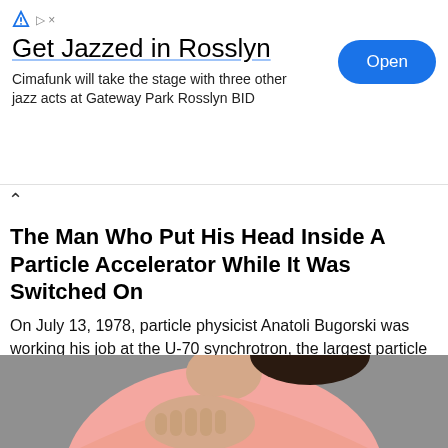[Figure (screenshot): Advertisement banner: Get Jazzed in Rosslyn. Blue triangle ad icon and X close button top right. Text: Cimafunk will take the stage with three other jazz acts at Gateway Park Rosslyn BID. Blue Open button on right.]
The Man Who Put His Head Inside A Particle Accelerator While It Was Switched On
On July 13, 1978, particle physicist Anatoli Bugorski was working his job at the U-70 synchrotron, the largest particle accelerator in …
The Space Academy
[Figure (photo): Woman in a pink long-sleeve top with her hand placed on her chest, photographed against a grey background. Only visible from neck to waist.]